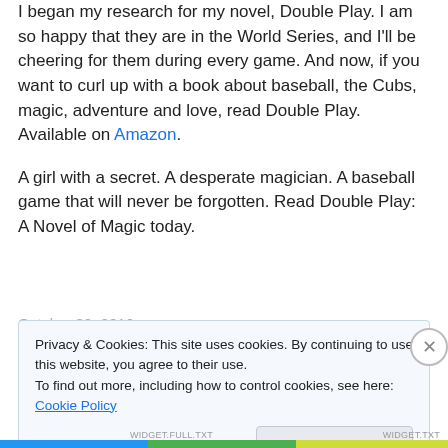I began my research for my novel, Double Play. I am so happy that they are in the World Series, and I'll be cheering for them during every game. And now, if you want to curl up with a book about baseball, the Cubs, magic, adventure and love, read Double Play. Available on Amazon.
A girl with a secret. A desperate magician. A baseball game that will never be forgotten. Read Double Play: A Novel of Magic today.
Privacy & Cookies: This site uses cookies. By continuing to use this website, you agree to their use.
To find out more, including how to control cookies, see here: Cookie Policy